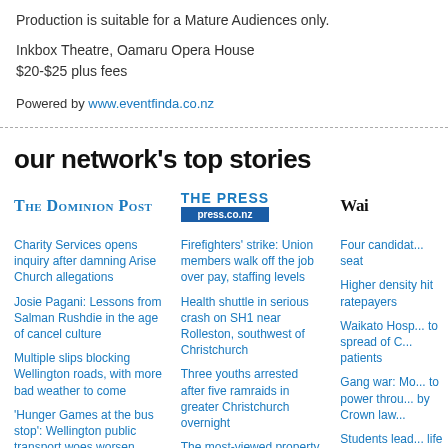Production is suitable for a Mature Audiences only.
Inkbox Theatre, Oamaru Opera House
$20-$25 plus fees
Powered by www.eventfinda.co.nz
our network's top stories
[Figure (logo): The Dominion Post logo in blue serif font]
Charity Services opens inquiry after damning Arise Church allegations
Josie Pagani: Lessons from Salman Rushdie in the age of cancel culture
Multiple slips blocking Wellington roads, with more bad weather to come
'Hunger Games at the bus stop': Wellington public transport woes worsen
We need to stop labelling all our emotions as mental health problems
[Figure (logo): The Press / press.co.nz logo in blue with blue banner]
Firefighters' strike: Union members walk off the job over pay, staffing levels
Health shuttle in serious crash on SH1 near Rolleston, southwest of Christchurch
Three youths arrested after five ramraids in greater Christchurch overnight
The most-viewed property listings that are defying the housing market shift
Man faces attempted murder charge after Lyttelton home invasion
[Figure (logo): Wai... (Waikato Times) logo in black serif font, partially visible]
Four candidates... seat
Higher density... hit ratepayers
Waikato Hosp... to spread of C... patients
Gang war: Mo... to power throu... by Crown law...
Students lead... life